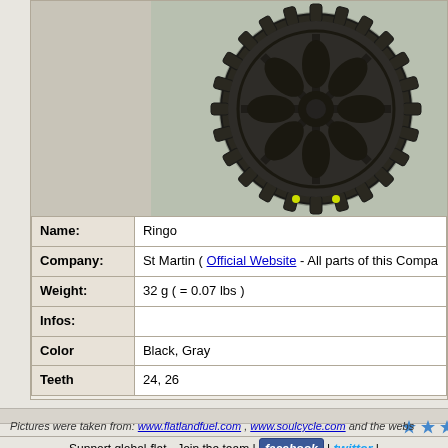[Figure (photo): Close-up photo of a black BMX sprocket/chainring (Ringo by St Martin) with spoked design, 24-26 teeth, showing yellow accent details, photographed on a light surface]
|  |  |
| --- | --- |
| Name: | Ringo |
| Company: | St Martin ( Official Website - All parts of this Compa... |
| Weight: | 32 g ( = 0.07 lbs ) |
| Infos: |  |
| Color | Black, Gray |
| Teeth | 24, 26 |
Pictures were taken from: www.flatlandfuel.com , www.soulcycle.com and the webs...
Support global-flat - Join the team | facebook | twitter |
| Logo | contact: info@global-flat.com
Copyright © global-flat.com